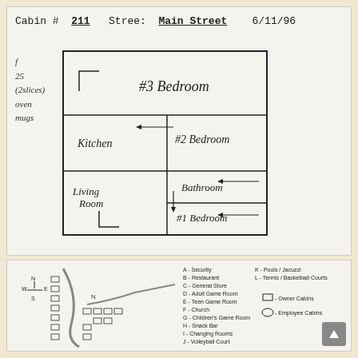Cabin # 211   Street: Main Street   6/11/96
f
25
(2 slices)
oven
mugs
[Figure (schematic): Hand-drawn floor plan of cabin showing #3 Bedroom (top), Kitchen (middle left), #2 Bedroom (middle right), Living Room (bottom left), Bathroom (center right), #1 Bedroom (bottom right)]
[Figure (map): Campground/resort map with legend showing: A-Security, B-Restaurant, C-General Store, D-Adult Game Room, E-Teen Game Room, F-Church, G-Children's Game Room, H-Snack Bar, I-Changing Rooms, J-Volleyball Court, K-Pools/Jacuzzi, L-Tennis/Basketball Courts. Owner Cabins and Employee Cabins indicated.]